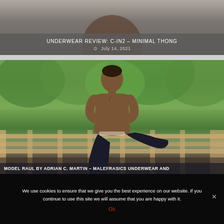[Figure (photo): Top portion of a male model wearing yellow/green underwear against a gray background]
UNDERWEAR REVIEW: C-IN2 – MINIMAL THONG
July 14, 2021
[Figure (photo): Male model Raul photographed by Adrian C. Martin outdoors, shirtless, wearing dark pants, seated on a wooden fence/bench with trees in background – Malefrasics Underwear and…]
MODEL RAUL BY ADRIAN C. MARTIN – MALEFRASICS UNDERWEAR AND
We use cookies to ensure that we give you the best experience on our website. If you continue to use this site we will assume that you are happy with it.
Ok